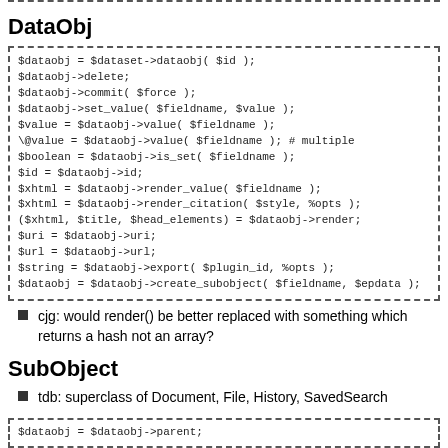[Figure (other): Top dashed border line at top of page]
DataObj
[Figure (other): Dashed box containing code block with DataObj API methods]
cjg: would render() be better replaced with something which returns a hash not an array?
SubObject
tdb: superclass of Document, File, History, SavedSearch
[Figure (other): Dashed box at bottom containing code: $dataobj = $dataobj->parent;]